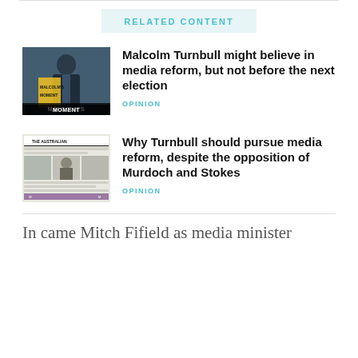RELATED CONTENT
[Figure (photo): Photo of Malcolm Turnbull with book cover overlay reading MALCOLM'S MOMENT]
Malcolm Turnbull might believe in media reform, but not before the next election
OPINION
[Figure (photo): Photo of The Australian newspaper front page with Turnbull image]
Why Turnbull should pursue media reform, despite the opposition of Murdoch and Stokes
OPINION
In came Mitch Fifield as media minister